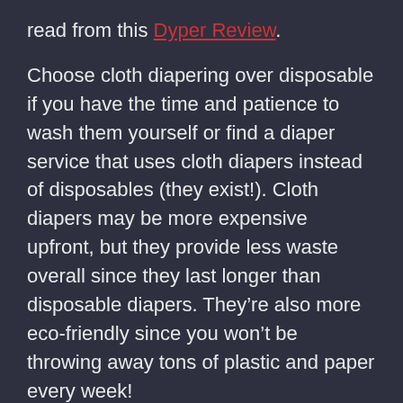read from this Dyper Review.
Choose cloth diapering over disposable if you have the time and patience to wash them yourself or find a diaper service that uses cloth diapers instead of disposables (they exist!). Cloth diapers may be more expensive upfront, but they provide less waste overall since they last longer than disposable diapers. They’re also more eco-friendly since you won’t be throwing away tons of plastic and paper every week!
What To Look For When